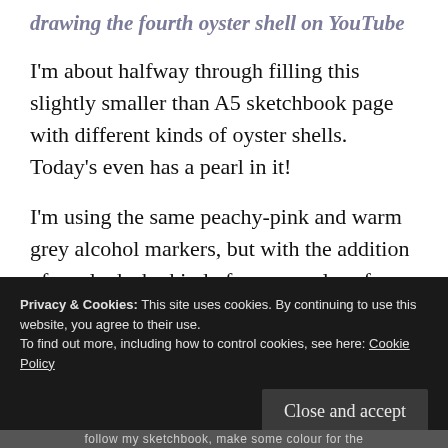drawing the fourth oyster shell on YouTube
I'm about halfway through filling this slightly smaller than A5 sketchbook page with different kinds of oyster shells. Today's even has a pearl in it!
I'm using the same peachy-pink and warm grey alcohol markers, but with the addition of a pale dusky kind of mauve colour for the
Privacy & Cookies: This site uses cookies. By continuing to use this website, you agree to their use.
To find out more, including how to control cookies, see here: Cookie Policy
Close and accept